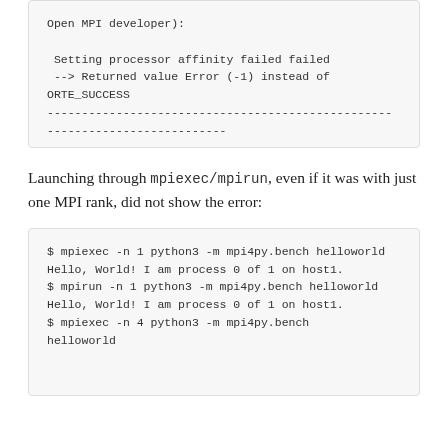Open MPI developer):

 Setting processor affinity failed failed
 --> Returned value Error (-1) instead of ORTE_SUCCESS
--------------------------------------------------
--------------------------
Launching through mpiexec/mpirun, even if it was with just one MPI rank, did not show the error:
$ mpiexec -n 1 python3 -m mpi4py.bench helloworld
Hello, World! I am process 0 of 1 on host1.
$ mpirun -n 1 python3 -m mpi4py.bench helloworld
Hello, World! I am process 0 of 1 on host1.
$ mpiexec -n 4 python3 -m mpi4py.bench helloworld